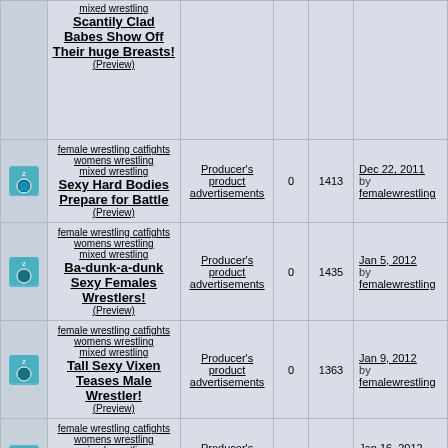|  | Topic | Forum | Replies | Views | Last Post |
| --- | --- | --- | --- | --- | --- |
| [icon] | female wrestling catfights womens wrestling mixed wrestling Scantly Clad Babes Show Off Their huge Breasts! (Preview) | Producer's product advertisements | 0 | 1413 | Dec 22, 2011 by femalewrestling |
| [icon] | female wrestling catfights womens wrestling mixed wrestling Sexy Hard Bodies Prepare for Battle (Preview) | Producer's product advertisements | 0 | 1435 | Jan 5, 2012 by femalewrestling |
| [icon] | female wrestling catfights womens wrestling mixed wrestling Ba-dunk-a-dunk Sexy Females Wrestlers! (Preview) | Producer's product advertisements | 0 | 1363 | Jan 9, 2012 by femalewrestling |
| [icon] | female wrestling catfights womens wrestling mixed wrestling Large Breasted Beat Down! (Preview) | Producer's product advertisements | 0 | 1386 | Jan 16, 2012 by femalewrestling |
| [icon] | female wrestling ... | Producer's ... | 0 | 1347 | Jan 25, 2012 |